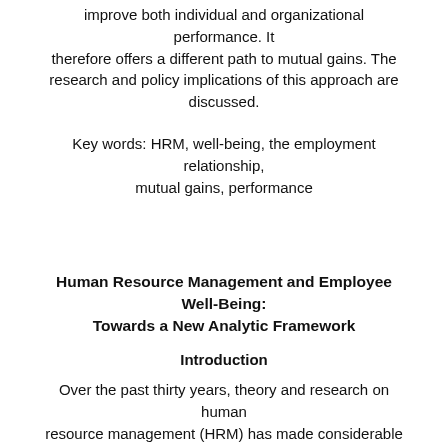improve both individual and organizational performance. It therefore offers a different path to mutual gains. The research and policy implications of this approach are discussed.
Key words: HRM, well-being, the employment relationship, mutual gains, performance
Human Resource Management and Employee Well-Being: Towards a New Analytic Framework
Introduction
Over the past thirty years, theory and research on human resource management (HRM) has made considerable progress. For example, we now have a clearer understanding about the strategic role of external and